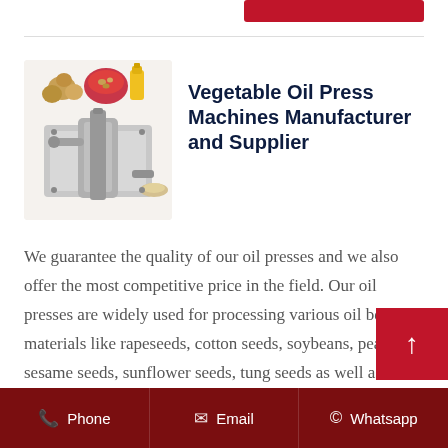[Figure (photo): Vegetable oil press machine with seeds and oil container displayed]
Vegetable Oil Press Machines Manufacturer and Supplier
We guarantee the quality of our oil presses and we also offer the most competitive price in the field. Our oil presses are widely used for processing various oil bearing materials like rapeseeds, cotton seeds, soybeans, peanuts, sesame seeds, sunflower seeds, tung seeds as well as rice bran, corn embryos, powered oil
Phone   Email   Whatsapp